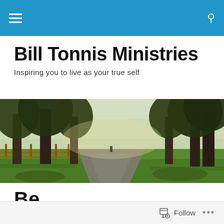Bill Tonnis Ministries — navigation header
Bill Tonnis Ministries
Inspiring you to live as your true self
[Figure (photo): A tree-lined path through a park with sunlight filtering through bare trees, a wooden fence on the left, green grass, and a distant figure walking down the path.]
Be
[Figure (photo): A blue and purple sky scene with soft blurred clouds or landscape at dusk.]
Follow  •••